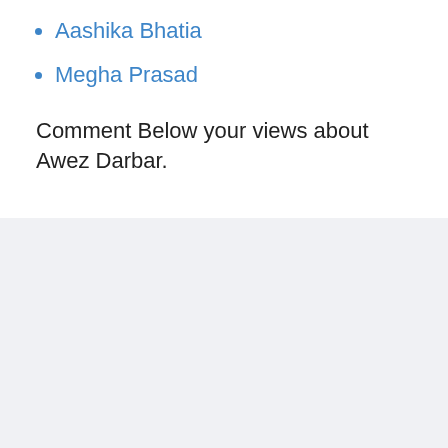Aashika Bhatia
Megha Prasad
Comment Below your views about Awez Darbar.